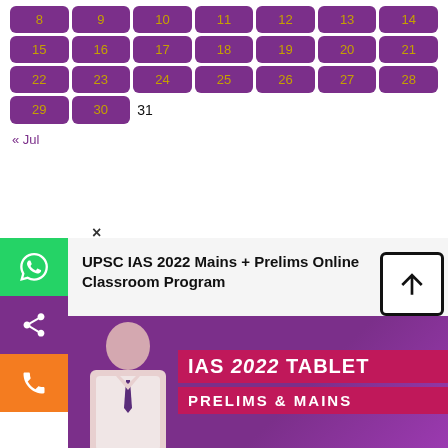[Figure (other): Calendar grid showing dates 8-31 in purple cells with gold numbers, with navigation link '« Jul' below]
« Jul
×
[Figure (other): Left sidebar with WhatsApp (green), share (purple), and phone (orange) icon buttons]
UPSC IAS 2022 Mains + Prelims Online Classroom Program
[Figure (infographic): Promotional banner showing a person in a white shirt on a purple background with text 'IAS 2022 TABLET' and 'PRELIMS & MAINS']
[Figure (other): Scroll-to-top button with upward arrow]